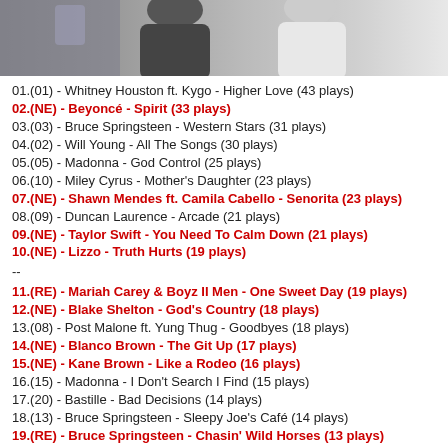[Figure (photo): Two people photographed at an event, partially visible at top of page]
01.(01) - Whitney Houston ft. Kygo - Higher Love (43 plays)
02.(NE) - Beyoncé - Spirit (33 plays)
03.(03) - Bruce Springsteen - Western Stars (31 plays)
04.(02) - Will Young - All The Songs (30 plays)
05.(05) - Madonna - God Control (25 plays)
06.(10) - Miley Cyrus - Mother's Daughter (23 plays)
07.(NE) - Shawn Mendes ft. Camila Cabello - Senorita (23 plays)
08.(09) - Duncan Laurence - Arcade (21 plays)
09.(NE) - Taylor Swift - You Need To Calm Down (21 plays)
10.(NE) - Lizzo - Truth Hurts (19 plays)
--
11.(RE) - Mariah Carey & Boyz II Men - One Sweet Day (19 plays)
12.(NE) - Blake Shelton - God's Country (18 plays)
13.(08) - Post Malone ft. Yung Thug - Goodbyes (18 plays)
14.(NE) - Blanco Brown - The Git Up (17 plays)
15.(NE) - Kane Brown - Like a Rodeo (16 plays)
16.(15) - Madonna - I Don't Search I Find (15 plays)
17.(20) - Bastille - Bad Decisions (14 plays)
18.(13) - Bruce Springsteen - Sleepy Joe's Café (14 plays)
19.(RE) - Bruce Springsteen - Chasin' Wild Horses (13 plays)
20.(RE) - Bruce Springsteen - Drive Fast (The Stuntman) (13 plays)
Albums:
01.(01) - Bruce Springsteen - Western Stars (181 plays)
02.(03) - Madonna - Madame X (129 plays)